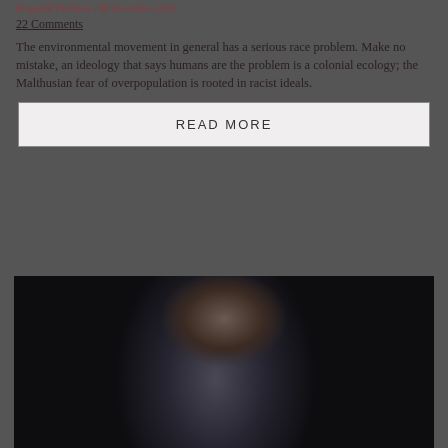Bingobili Phillipur / 08 November 2020
22 Comments
The environmental movement in general has a serious race problem. Make no mistake, an ideology that says humans are the problem is a colonial ecology; the Malthusian fear of overpopulation is rooted in racist ideals.
READ MORE
[Figure (photo): Black and white photograph of a person wearing a denim jacket, photographed against a dark background]